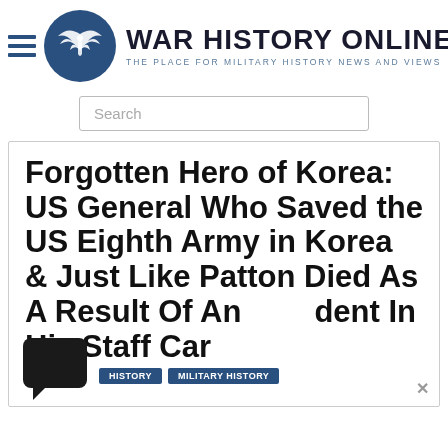WAR HISTORY ONLINE — THE PLACE FOR MILITARY HISTORY NEWS AND VIEWS
Search
Forgotten Hero of Korea: US General Who Saved the US Eighth Army in Korea & Just Like Patton Died As A Result Of An Accident In His Staff Car